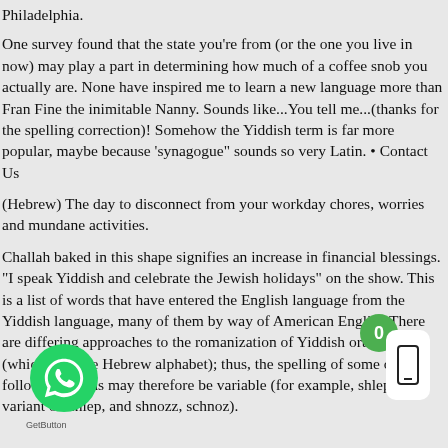Philadelphia.
One survey found that the state you're from (or the one you live in now) may play a part in determining how much of a coffee snob you actually are. None have inspired me to learn a new language more than Fran Fine the inimitable Nanny. Sounds like...You tell me...(thanks for the spelling correction)! Somehow the Yiddish term is far more popular, maybe because 'synagogue" sounds so very Latin. • Contact Us
(Hebrew) The day to disconnect from your workday chores, worries and mundane activities.
Challah baked in this shape signifies an increase in financial blessings. "I speak Yiddish and celebrate the Jewish holidays" on the show. This is a list of words that have entered the English language from the Yiddish language, many of them by way of American English.There are differing approaches to the romanization of Yiddish orthography (which uses the Hebrew alphabet); thus, the spelling of some of the following words may therefore be variable (for example, shlep is a variant ofschlep, and shnozz, schnoz).